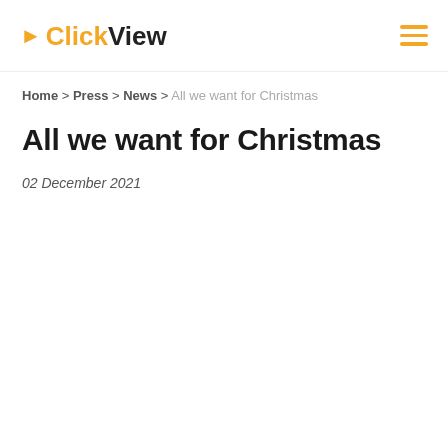ClickView
Home > Press > News > All we want for Christmas
All we want for Christmas
02 December 2021